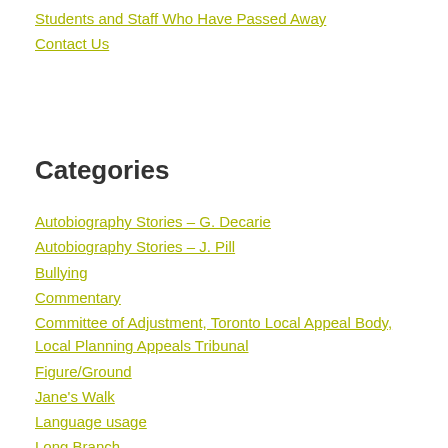Students and Staff Who Have Passed Away
Contact Us
Categories
Autobiography Stories – G. Decarie
Autobiography Stories – J. Pill
Bullying
Commentary
Committee of Adjustment, Toronto Local Appeal Body, Local Planning Appeals Tribunal
Figure/Ground
Jane's Walk
Language usage
Long Branch